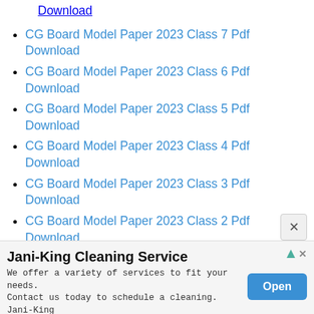Download
CG Board Model Paper 2023 Class 7 Pdf Download
CG Board Model Paper 2023 Class 6 Pdf Download
CG Board Model Paper 2023 Class 5 Pdf Download
CG Board Model Paper 2023 Class 4 Pdf Download
CG Board Model Paper 2023 Class 3 Pdf Download
CG Board Model Paper 2023 Class 2 Pdf Download
[Figure (screenshot): Close (X) button on right side of page]
Jani-King Cleaning Service
We offer a variety of services to fit your needs. Contact us today to schedule a cleaning. Jani-King